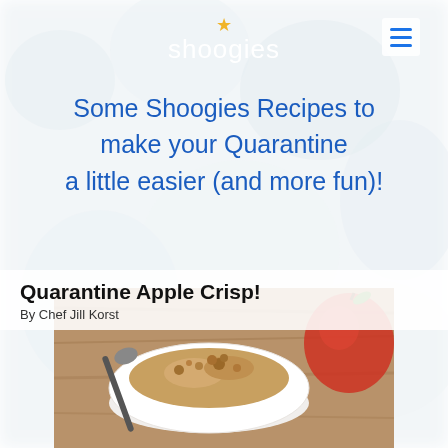[Figure (photo): Blurred background of soft white/grey kitchen/food scene with bubble wrap-like texture]
shoogies
Some Shoogies Recipes to make your Quarantine a little easier (and more fun)!
Quarantine Apple Crisp!
By Chef Jill Korst
[Figure (photo): Photo of apple crisp dessert in a white bowl with a spoon, red apple visible in background, on a wooden surface]